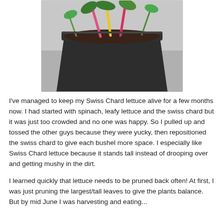[Figure (photo): A large dark grey/black plastic planter pot filled with dark soil and colorful Swiss Chard plants with bright pink and yellow stems, sitting on a grey concrete surface outdoors.]
I've managed to keep my Swiss Chard lettuce alive for a few months now. I had started with spinach, leafy lettuce and the swiss chard but it was just too crowded and no one was happy. So I pulled up and tossed the other guys because they were yucky, then repositioned the swiss chard to give each bushel more space. I especially like Swiss Chard lettuce because it stands tall instead of drooping over and getting mushy in the dirt.
I learned quickly that lettuce needs to be pruned back often! At first, I was just pruning the largest/tall leaves to give the plants balance. But by mid June I was harvesting and eating...